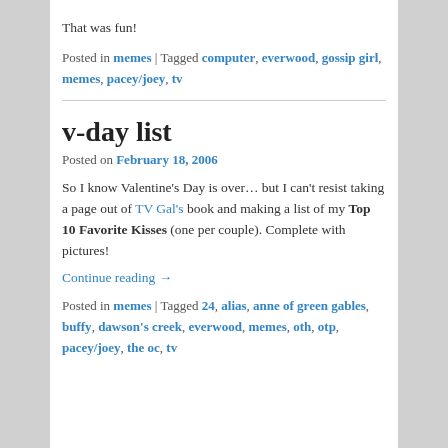That was fun!
Posted in memes | Tagged computer, everwood, gossip girl, memes, pacey/joey, tv
v-day list
Posted on February 18, 2006
So I know Valentine's Day is over… but I can't resist taking a page out of TV Gal's book and making a list of my Top 10 Favorite Kisses (one per couple). Complete with pictures!
Continue reading →
Posted in memes | Tagged 24, alias, anne of green gables, buffy, dawson's creek, everwood, memes, oth, otp, pacey/joey, the oc, tv